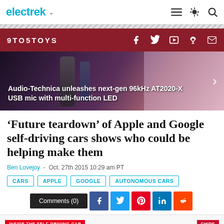electrek
[Figure (screenshot): 9TO5TOYS brand bar with social media icons (Facebook, Twitter, YouTube, Podcast, Email) on dark red background]
[Figure (photo): Featured article banner image: Audio-Technica unleashes next-gen 96kHz AT2020-X USB mic with multi-function LED]
Audio-Technica unleashes next-gen 96kHz AT2020-X USB mic with multi-function LED
'Future teardown' of Apple and Google self-driving cars shows who could be helping make them
Ben Lovejoy  -  Oct. 27th 2015 10:29 am PT
CARS
APPLE
GOOGLE
AUTONOMOUS CARS
Comments (0)
[Figure (infographic): Bottom teaser for article: INSIDE THE SELF-DRIVING CAR with CHIPS label]